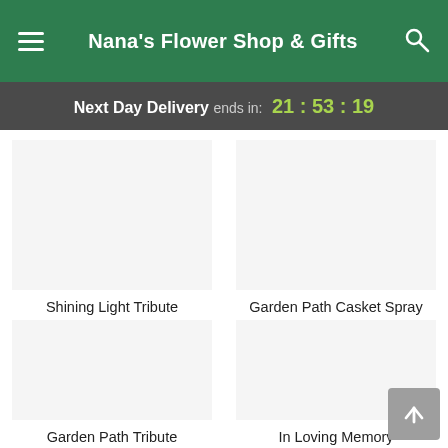Nana's Flower Shop & Gifts
Next Day Delivery ends in: 21 : 53 : 19
Shining Light Tribute
From $95.16
Garden Path Casket Spray
From $269.99
Garden Path Tribute
From $94.95
In Loving Memory
From $199.99